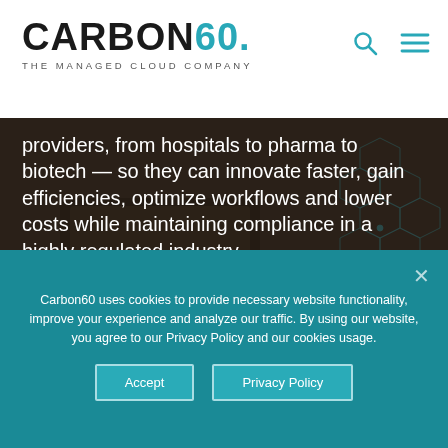[Figure (logo): Carbon60 logo with tagline 'THE MANAGED CLOUD COMPANY'. Carbon60 in bold black/teal, dot in teal. Search and hamburger menu icons top right.]
[Figure (photo): Background photo of hands on tablet device with dark overlay and hexagonal network pattern on right side. White text overlay reads: providers, from hospitals to pharma to biotech — so they can innovate faster, gain efficiencies, optimize workflows and lower costs while maintaining compliance in a highly regulated industry.]
providers, from hospitals to pharma to biotech — so they can innovate faster, gain efficiencies, optimize workflows and lower costs while maintaining compliance in a highly regulated industry.
Carbon60 uses cookies to provide necessary website functionality, improve your experience and analyze our traffic. By using our website, you agree to our Privacy Policy and our cookies usage.
Accept
Privacy Policy